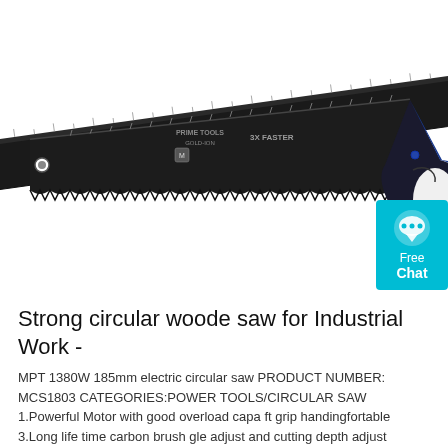[Figure (photo): A hand saw (Prime Tools brand) with a black blade featuring measurement markings along the top edge and fine teeth along the bottom. The handle is blue, black and white with ergonomic grip. A cyan/turquoise 'Free Chat' badge with a speech bubble icon is visible in the top-right corner of the image area.]
Strong circular woode saw for Industrial Work -
MPT 1380W 185mm electric circular saw PRODUCT NUMBER: MCS1803 CATEGORIES:POWER TOOLS/CIRCULAR SAW 1.Powerful Motor with good overload capa ft grip handingfortable 3.Long life time carbon brush gle adjust and cutting depth adjust SPECIFICATIONS Rated Voltage 220~240V/50~60Hz Rate Power 1380W No-load Speed 5300/min Max blade dia. 185mm Cutting Depth